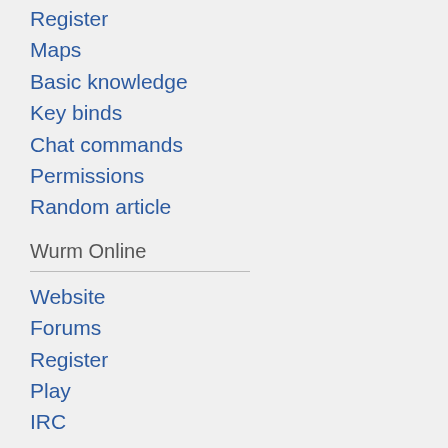Register
Maps
Basic knowledge
Key binds
Chat commands
Permissions
Random article
Wurm Online
Website
Forums
Register
Play
IRC
Wurm Unlimited